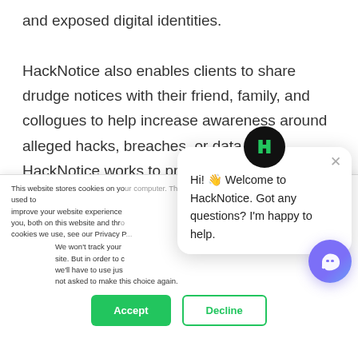and exposed digital identities.

HackNotice also enables clients to share drudge notices with their friend, family, and collogues to help increase awareness around alleged hacks, breaches, or data leaks. HackNotice works to provide clients with sharable reports to assist increase the security of our clients personal network. The security of the
This website stores cookies on your computer. These are used to improve your website experience you, both on this website and through cookies we use, see our Privacy P...
We won't track your site. But in order to c we'll have to use just not asked to make this choice again.
[Figure (other): Cookie consent dialog with Accept and Decline buttons, and a HackNotice chat popup showing 'Hi! 👋 Welcome to HackNotice. Got any questions? I'm happy to help.' with an H logo avatar and close button. A purple chat bubble button is in the bottom right.]